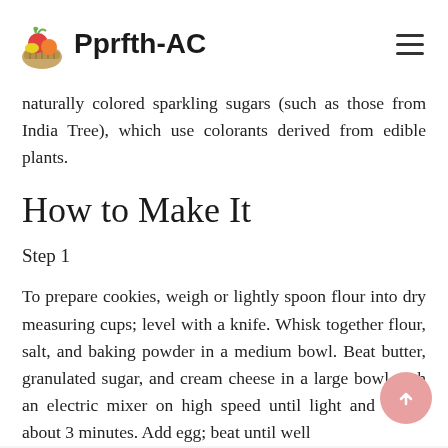Pprfth-AC
naturally colored sparkling sugars (such as those from India Tree), which use colorants derived from edible plants.
How to Make It
Step 1
To prepare cookies, weigh or lightly spoon flour into dry measuring cups; level with a knife. Whisk together flour, salt, and baking powder in a medium bowl. Beat butter, granulated sugar, and cream cheese in a large bowl with an electric mixer on high speed until light and fluffy, about 3 minutes. Add egg; beat until well